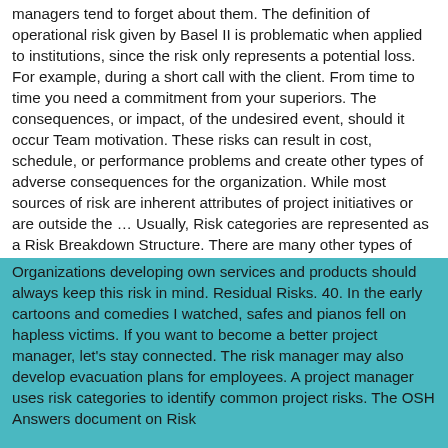managers tend to forget about them. The definition of operational risk given by Basel II is problematic when applied to institutions, since the risk only represents a potential loss. For example, during a short call with the client. From time to time you need a commitment from your superiors. The consequences, or impact, of the undesired event, should it occur Team motivation. These risks can result in cost, schedule, or performance problems and create other types of adverse consequences for the organization. While most sources of risk are inherent attributes of project initiatives or are outside the … Usually, Risk categories are represented as a Risk Breakdown Structure. There are many other types of risks of concern to projects. 41. Risk, along with the return, is a major consideration in capital budgeting decisions. Assessing risks that threaten the execution of a project is an important part of the project planning process. Poor rolling wave planning. (adsbygoogle = window.adsbygoogle || []).push({}); The higher the risk undertaken, the more ample the expected return – and conversely, the lower the risk, the more modest the expected return. Organizations developing own services and products should always keep this risk in mind. Residual Risks. 40. In the early cartoons and comedies I watched, safes and pianos fell on hapless victims. If you want to become a better project manager, let's stay connected. The risk manager may also develop evacuation plans for employees. A project manager uses risk categories to identify common project risks. The OSH Answers document on Risk